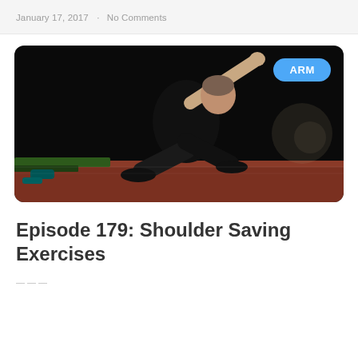January 17, 2017  ·  No Comments
[Figure (photo): Male sprinter in black athletic wear launching off starting blocks on a red track, leaning forward explosively, dark dramatic background with green turf visible. Blue 'ARM' badge overlay in top-right corner.]
Episode 179: Shoulder Saving Exercises